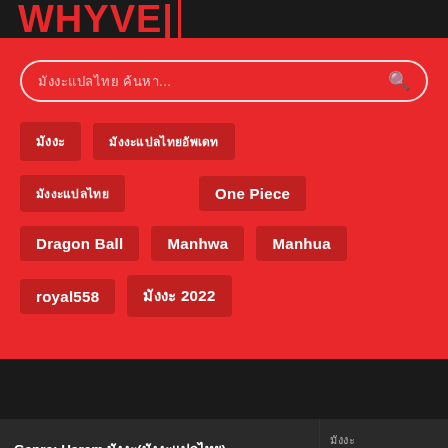WHYVE|
[Figure (screenshot): Search bar with placeholder text and magnifying glass icon on red background]
มังงะ
มังงะแปลไทยอัพเดท
มังงะแปลไทย
One Piece
Dragon Ball
Manhwa
Manhua
royal558
มังงะ 2022
Genre: Harem มังงะ(มังงะแปลไทย)
มังงะ มังงะ